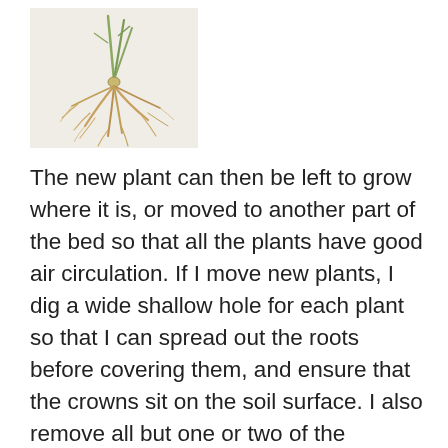[Figure (photo): A photograph of strawberry plant runners with roots exposed, showing fibrous root system on a light background.]
The new plant can then be left to grow where it is, or moved to another part of the bed so that all the plants have good air circulation. If I move new plants, I dig a wide shallow hole for each plant so that I can spread out the roots before covering them, and ensure that the crowns sit on the soil surface. I also remove all but one or two of the youngest leaves as this reduces any wilting after transplanting. I usually pot up some runners for spares too, just in case. Then, all that is required is regular watering and an occasional drink of manure tea until the plants are growing strongly. I don't usually mulch them in